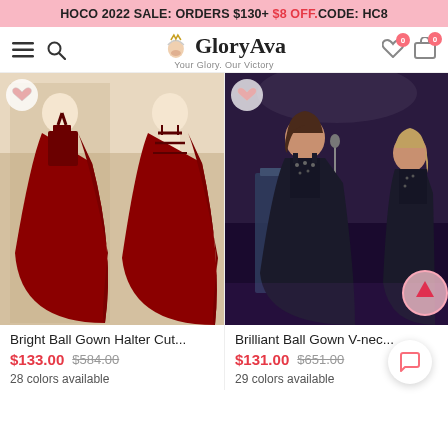HOCO 2022 SALE: ORDERS $130+ $8 OFF.CODE: HC8
[Figure (logo): GloryAva logo with crown icon and tagline 'Your Glory. Our Victory', navigation icons including hamburger menu, search, heart (0) and cart (0)]
[Figure (photo): Red ball gown halter cut dress shown from front and back on mannequins in a store]
[Figure (photo): Black ball gown V-neck dress worn by two women at an event, one at a podium]
Bright Ball Gown Halter Cut...
$133.00  $584.00
28 colors available
Brilliant Ball Gown V-nec...
$131.00  $651.00
29 colors available